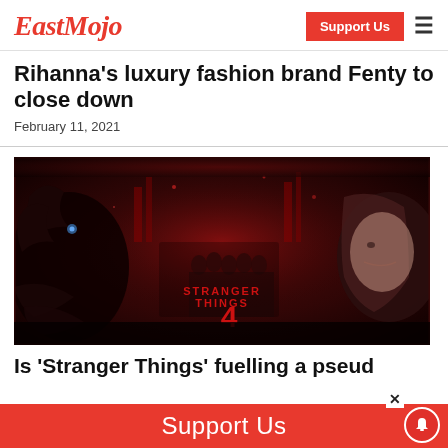EastMojo | Support Us
Rihanna&apos;s luxury fashion brand Fenty to close down
February 11, 2021
[Figure (photo): Promotional poster for Stranger Things Season 4 featuring the main characters against a dark red background with the Demogorgon and Eleven in the foreground]
Is 'Stranger Things' fuelling a pseud…
Support Us